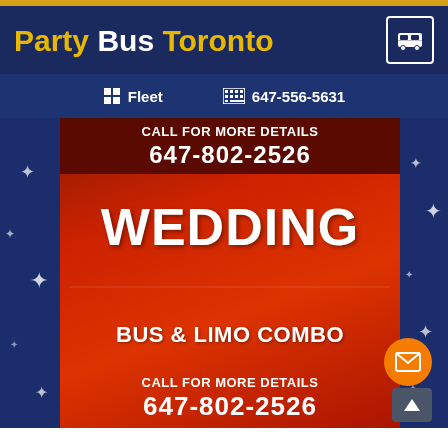Party Bus Toronto
Fleet  647-556-5631
[Figure (infographic): Wedding Bus & Limo Combo advertisement on red background with call to action: CALL FOR MORE DETAILS 647-802-2526 WEDDING BUS & LIMO COMBO CALL FOR MORE DETAILS 647-802-2526]